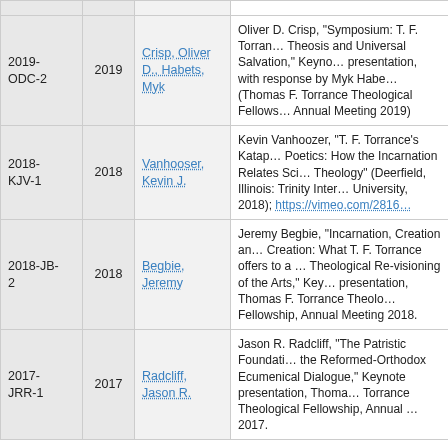| ID | Year | Author | Description |
| --- | --- | --- | --- |
| 2019-ODC-2 | 2019 | Crisp, Oliver D., Habets, Myk | Oliver D. Crisp, "Symposium: T. F. Torrance, Theosis and Universal Salvation," Keynote presentation, with response by Myk Habets (Thomas F. Torrance Theological Fellowship, Annual Meeting 2019) |
| 2018-KJV-1 | 2018 | Vanhooser, Kevin J. | Kevin Vanhoozer, "T. F. Torrance's Katapoietic Poetics: How the Incarnation Relates Science and Theology" (Deerfield, Illinois: Trinity International University, 2018); https://vimeo.com/2816... |
| 2018-JB-2 | 2018 | Begbie, Jeremy | Jeremy Begbie, "Incarnation, Creation and New Creation: What T. F. Torrance offers to a Theological Re-visioning of the Arts," Keynote presentation, Thomas F. Torrance Theological Fellowship, Annual Meeting 2018. |
| 2017-JRR-1 | 2017 | Radcliff, Jason R. | Jason R. Radcliff, "The Patristic Foundations of the Reformed-Orthodox Ecumenical Dialogue," Keynote presentation, Thomas F. Torrance Theological Fellowship, Annual Meeting 2017. |